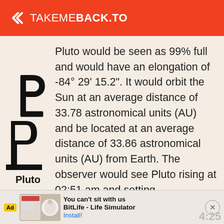TAKEMEBACK.TO
[Figure (illustration): Pluto astronomical symbol (a P with extended left arm) and label 'Pluto' beneath it]
Pluto would be seen as 99% full and would have an elongation of -84° 29' 15.2". It would orbit the Sun at an average distance of 33.78 astronomical units (AU) and be located at an average distance of 33.86 astronomical units (AU) from Earth. The observer would see Pluto rising at 02:51 am and setting
Ad | BitLife - Life Simulator | Install!